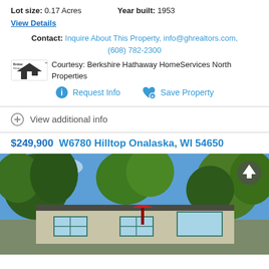Lot size: 0.17 Acres   Year built: 1953
View Details
Contact: Inquire About This Property, info@ghrealtors.com, (608) 782-2300
Courtesy: Berkshire Hathaway HomeServices North Properties
Request Info
Save Property
View additional info
$249,900  W6780 Hilltop Onalaska, WI 54650
[Figure (photo): Exterior photo of a single-story ranch house with teal/blue shutters, beige siding, and large trees with a bright blue sky in the background. A red umbrella or flag is visible near the front.]